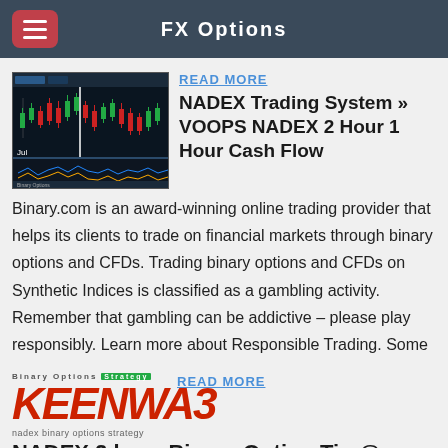FX Options
[Figure (screenshot): Trading chart showing candlestick price data with indicator panel below, labeled Jul]
READ MORE
NADEX Trading System » VOOPS NADEX 2 Hour 1 Hour Cash Flow
Binary.com is an award-winning online trading provider that helps its clients to trade on financial markets through binary options and CFDs. Trading binary options and CFDs on Synthetic Indices is classified as a gambling activity. Remember that gambling can be addictive – please play responsibly. Learn more about Responsible Trading. Some
[Figure (logo): KEENWA3 logo in red italic text with tagline 'nadex binary options strategy']
READ MORE
NADEX 2 hour Binary Option Tip @ Forex Factory